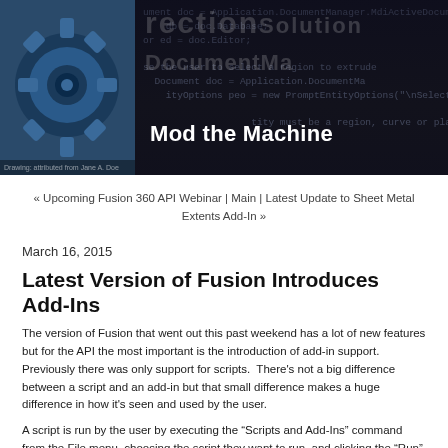[Figure (photo): Blog header banner for 'Mod the Machine' showing a mechanical gear/machine part photo on the left and dark background with overlaid code text on the right, with the blog title 'Mod the Machine' in white bold text.]
« Upcoming Fusion 360 API Webinar | Main | Latest Update to Sheet Metal Extents Add-In »
March 16, 2015
Latest Version of Fusion Introduces Add-Ins
The version of Fusion that went out this past weekend has a lot of new features but for the API the most important is the introduction of add-in support.  Previously there was only support for scripts.  There's not a big difference between a script and an add-in but that small difference makes a huge difference in how it's seen and used by the user.
A script is run by the user by executing the “Scripts and Add-Ins” command from the File menu, choosing the script they want to run, and clicking the “Run” button.